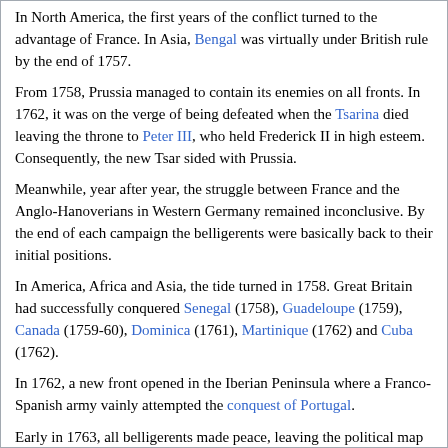In North America, the first years of the conflict turned to the advantage of France. In Asia, Bengal was virtually under British rule by the end of 1757.
From 1758, Prussia managed to contain its enemies on all fronts. In 1762, it was on the verge of being defeated when the Tsarina died leaving the throne to Peter III, who held Frederick II in high esteem. Consequently, the new Tsar sided with Prussia.
Meanwhile, year after year, the struggle between France and the Anglo-Hanoverians in Western Germany remained inconclusive. By the end of each campaign the belligerents were basically back to their initial positions.
In America, Africa and Asia, the tide turned in 1758. Great Britain had successfully conquered Senegal (1758), Guadeloupe (1759), Canada (1759-60), Dominica (1761), Martinique (1762) and Cuba (1762).
In 1762, a new front opened in the Iberian Peninsula where a Franco-Spanish army vainly attempted the conquest of Portugal.
Early in 1763, all belligerents made peace, leaving the political map of Europe almost unchanged. However, Great Britain had eliminated its most important competitor for the domination of the world, and Prussia had survived the war, a feat all by itself... (more...)
Donations to Project SYW
As usual at this time of the year, we are launching our funding campaign. We are still far from our target.